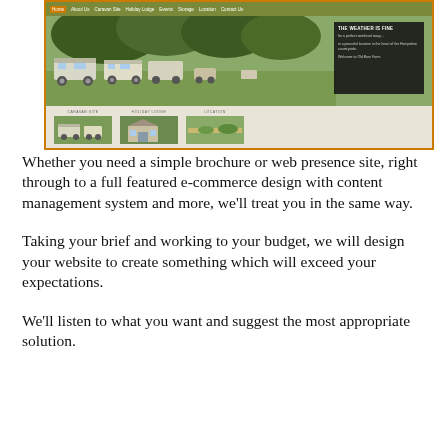[Figure (screenshot): Screenshot of a caravan/camping website called Old Barn Farm with a navigation bar, hero image showing caravans parked on grass with trees, a dark overlay text panel reading 'THE WEATHER IS FINE', and three thumbnail sections labeled CARAVAN SITE, HOLIDAY LODGE, LOCATION.]
Whether you need a simple brochure or web presence site, right through to a full featured e-commerce design with content management system and more, we'll treat you in the same way.
Taking your brief and working to your budget, we will design your website to create something which will exceed your expectations.
We'll listen to what you want and suggest the most appropriate solution.